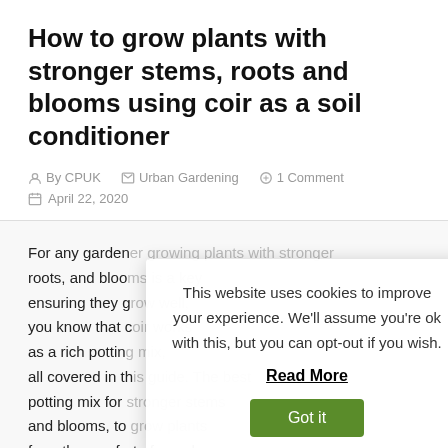How to grow plants with stronger stems, roots and blooms using coir as a soil conditioner
By CPUK   Urban Gardening   1 Comment   April 22, 2020
For any garden... roots, and bloo... ensuring they g... you know that c... as a rich pottin... all covered in th... potting mix for... and blooms, to... from the comfort of your home.
This website uses cookies to improve your experience. We'll assume you're ok with this, but you can opt-out if you wish. Read More Got it